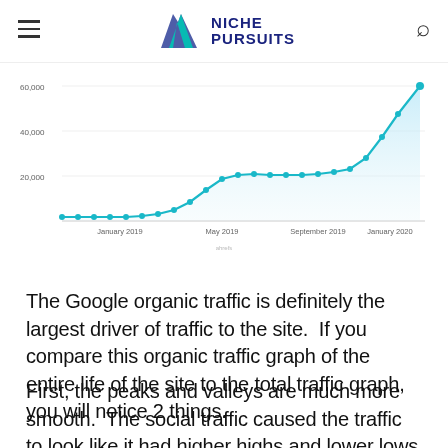NICHE PURSUITS
[Figure (area-chart): Organic traffic over time]
The Google organic traffic is definitely the largest driver of traffic to the site.  If you compare this organic traffic graph of the entire life of the site to the total traffic graph, you will notice 2 things.
First, the peaks and valleys are much more smooth.  The social traffic caused the traffic to look like it had higher highs and lower lows than the fairly consistent organic traffic shows.